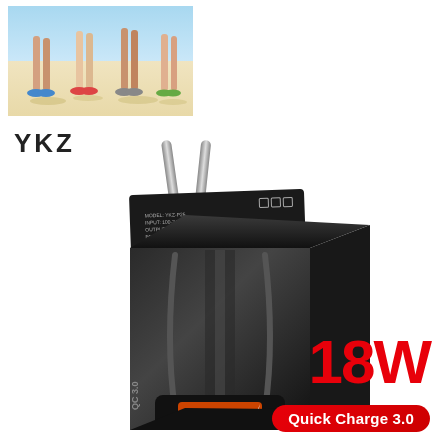[Figure (photo): Top banner photo showing people's legs and feet standing on a sandy beach, colorful sandals visible]
YKZ
[Figure (photo): YKZ 18W Quick Charge 3.0 USB wall charger adapter in black, with EU plug prongs, orange USB port with QC 3.0 logo, and certification label on back]
18W
Quick Charge 3.0